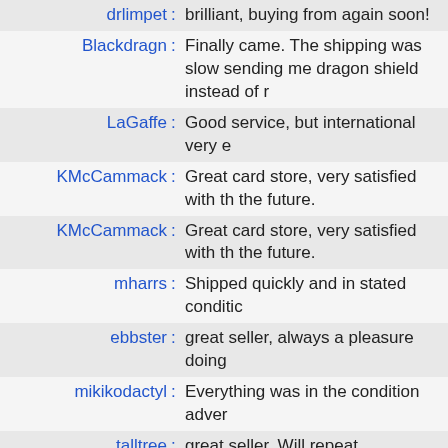| drlimpet | brilliant, buying from again soon! |
| Blackdragn | Finally came. The shipping was slow sending me dragon shield instead of r |
| LaGaffe | Good service, but international very e |
| KMcCammack | Great card store, very satisfied with the future. |
| KMcCammack | Great card store, very satisfied with the future. |
| mharrs | Shipped quickly and in stated conditic |
| ebbster | great seller, always a pleasure doing |
| mikikodactyl | Everything was in the condition adver |
| talltree | great seller. Will repeat |
| talltree | Good seller |
| drlimpet | great transaction again. we are regula |
| drlimpet | always great. very professional/respe |
| nvirus63116 | Great to buy from as always |
| collector789 | Perfect, as always. Thank you! |
| Anthologist | Excellent speed and product price. |
| Anthologist | Excellent speed and product price. |
| Anthologist | Excellent speed and product price. |